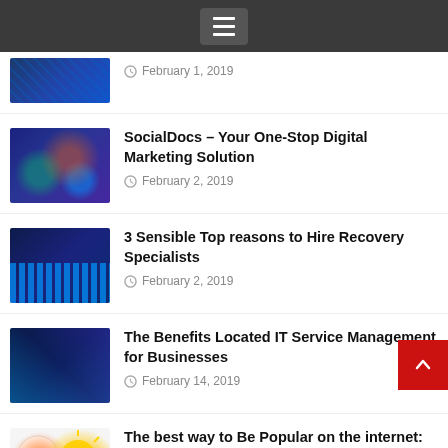Navigation menu icon
February 1, 2019
SocialDocs – Your One-Stop Digital Marketing Solution
February 2, 2019
3 Sensible Top reasons to Hire Recovery Specialists
February 2, 2019
The Benefits Located IT Service Management for Businesses
February 14, 2019
The best way to Be Popular on the internet: The Straightforward Shortcut to Online Brand Marketing